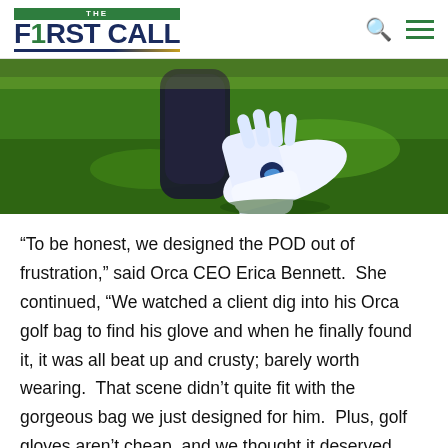THE F1RST CALL
[Figure (photo): A white golf glove lying on green grass next to a dark golf bag]
“To be honest, we designed the POD out of frustration,” said Orca CEO Erica Bennett.  She continued, “We watched a client dig into his Orca golf bag to find his glove and when he finally found it, it was all beat up and crusty; barely worth wearing.  That scene didn’t quite fit with the gorgeous bag we just designed for him.  Plus, golf gloves aren’t cheap, and we thought it deserved more respect.  So, we invented the Orca Pod so golfers can have a proper way to store their gloves when not in use – it makes the glove easy to find, keeps it